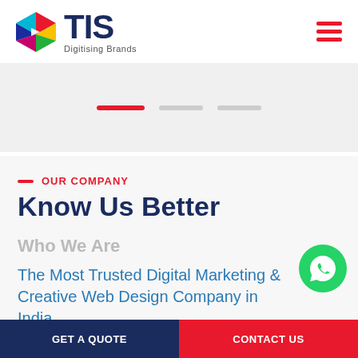TIS — Digitising Brands
[Figure (logo): TIS logo with colorful geometric cube and bold dark blue TIS text, tagline 'Digitising Brands']
[Figure (infographic): Slider navigation dots: one active red bar and two inactive grey bars]
OUR COMPANY
Know Us Better
Who We Are
The Most Trusted Digital Marketing & Creative Web Design Company in India
[Figure (logo): WhatsApp floating button icon — green circle with white phone handset]
GET A QUOTE | CONTACT US